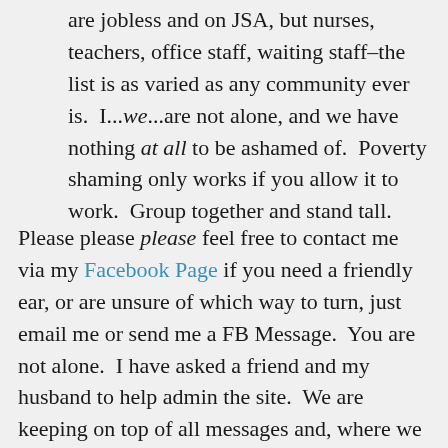are jobless and on JSA, but nurses, teachers, office staff, waiting staff–the list is as varied as any community ever is.  I...we...are not alone, and we have nothing at all to be ashamed of.  Poverty shaming only works if you allow it to work.  Group together and stand tall.
Please please please feel free to contact me via my Facebook Page if you need a friendly ear, or are unsure of which way to turn, just email me or send me a FB Message.  You are not alone.  I have asked a friend and my husband to help admin the site.  We are keeping on top of all messages and, where we can, we will point you in the right direction, if you need help.  Even if you just need to offload and